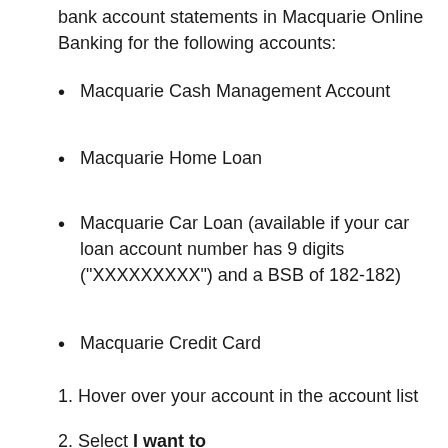bank account statements in Macquarie Online Banking for the following accounts:
Macquarie Cash Management Account
Macquarie Home Loan
Macquarie Car Loan (available if your car loan account number has 9 digits ("XXXXXXXXX") and a BSB of 182-182)
Macquarie Credit Card
1. Hover over your account in the account list
2. Select I want to